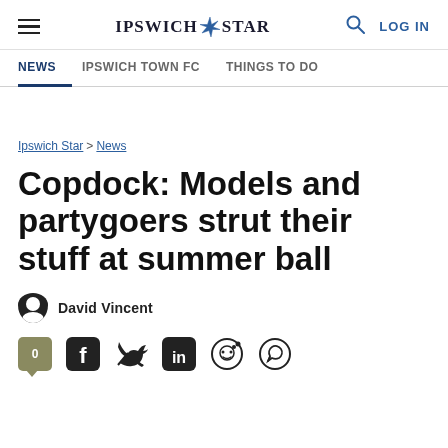IPSWICH STAR
NEWS | IPSWICH TOWN FC | THINGS TO DO
Ipswich Star > News
Copdock: Models and partygoers strut their stuff at summer ball
David Vincent
[Figure (other): Social sharing icons: comment count (0), Facebook, Twitter, LinkedIn, Reddit, WhatsApp]